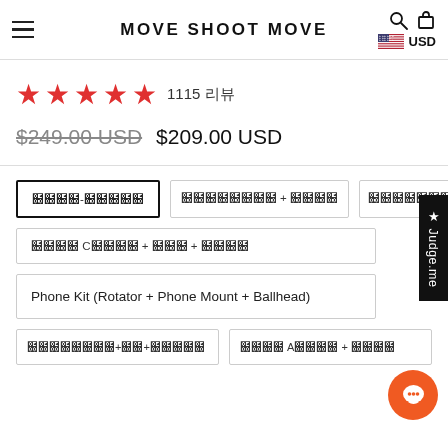MOVE SHOOT MOVE
★★★★★ 1115 리뷰
$249.00 USD  $209.00 USD
트래커-이격자
트래커+볼헤드 + 폰마운트
트래커+폰마운트+볼헤드+이격자
탄소섬유 C링브라켓 + 폴더 + 이격자세트
Phone Kit (Rotator + Phone Mount + Ballhead)
트래커+폰마운트+볼헤드+이격자세트
탄소섬유 A링브라켓 + 폴더